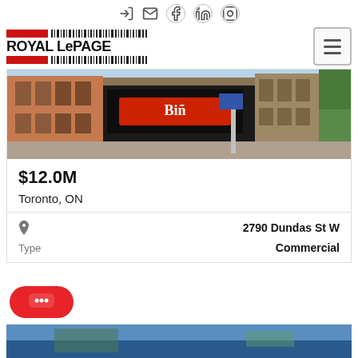Navigation icons: login, email, facebook, linkedin, instagram
[Figure (logo): Royal LePage logo with red bars and barcode style stripes]
[Figure (photo): Street view photo of commercial buildings on Dundas St W, Toronto showing brick buildings and storefronts]
$12.0M
Toronto, ON
2790 Dundas St W
Type
Commercial
[Figure (other): Red chat bubble button with speech bubble dots icon]
[Figure (photo): Partial bottom strip showing blue-toned outdoor/landscape photo]